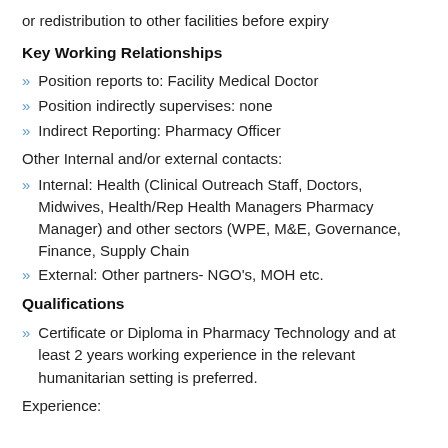or redistribution to other facilities before expiry
Key Working Relationships
Position reports to: Facility Medical Doctor
Position indirectly supervises: none
Indirect Reporting: Pharmacy Officer
Other Internal and/or external contacts:
Internal: Health (Clinical Outreach Staff, Doctors, Midwives, Health/Rep Health Managers Pharmacy Manager) and other sectors (WPE, M&E, Governance, Finance, Supply Chain
External: Other partners- NGO's, MOH etc.
Qualifications
Certificate or Diploma in Pharmacy Technology and at least 2 years working experience in the relevant humanitarian setting is preferred.
Experience: